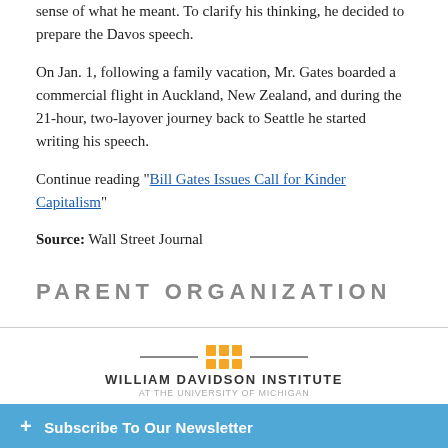sense of what he meant. To clarify his thinking, he decided to prepare the Davos speech.
On Jan. 1, following a family vacation, Mr. Gates boarded a commercial flight in Auckland, New Zealand, and during the 21-hour, two-layover journey back to Seattle he started writing his speech.
Continue reading “Bill Gates Issues Call for Kinder Capitalism”
Source: Wall Street Journal
PARENT ORGANIZATION
[Figure (logo): William Davidson Institute logo with orange grid squares and horizontal lines]
+ Subscribe To Our Newsletter